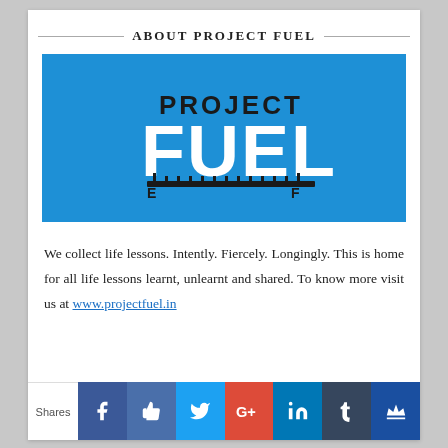ABOUT PROJECT FUEL
[Figure (logo): Project Fuel logo on blue background with text PROJECT FUEL and a fuel gauge graphic below, showing E and F markers]
We collect life lessons. Intently. Fiercely. Longingly. This is home for all life lessons learnt, unlearnt and shared. To know more visit us at www.projectfuel.in
Shares